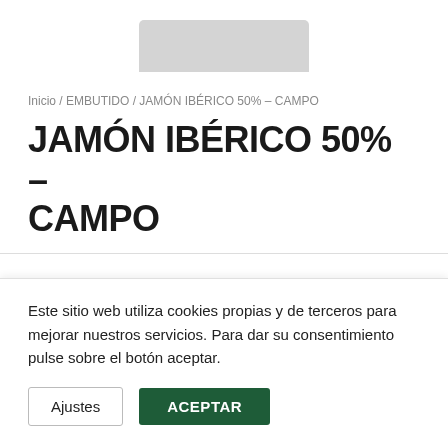[Figure (photo): Partial product image of Jamón Ibérico shown at top of page, mostly cropped, light gray/white packaging visible]
Inicio / EMBUTIDO / JAMÓN IBÉRICO 50% – CAMPO
JAMÓN IBÉRICO 50% – CAMPO
Este sitio web utiliza cookies propias y de terceros para mejorar nuestros servicios. Para dar su consentimiento pulse sobre el botón aceptar.
Ajustes   ACEPTAR